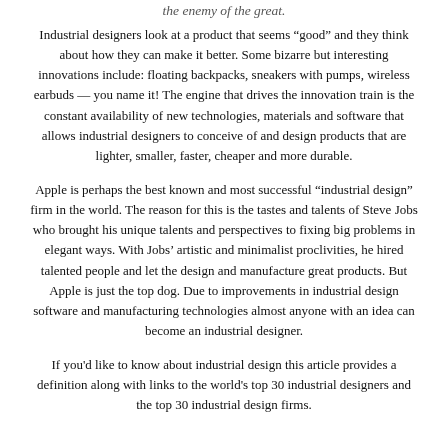the enemy of the great.
Industrial designers look at a product that seems “good” and they think about how they can make it better. Some bizarre but interesting innovations include: floating backpacks, sneakers with pumps, wireless earbuds — you name it! The engine that drives the innovation train is the constant availability of new technologies, materials and software that allows industrial designers to conceive of and design products that are lighter, smaller, faster, cheaper and more durable.
Apple is perhaps the best known and most successful “industrial design” firm in the world. The reason for this is the tastes and talents of Steve Jobs who brought his unique talents and perspectives to fixing big problems in elegant ways. With Jobs’ artistic and minimalist proclivities, he hired talented people and let the design and manufacture great products. But Apple is just the top dog. Due to improvements in industrial design software and manufacturing technologies almost anyone with an idea can become an industrial designer.
If you'd like to know about industrial design this article provides a definition along with links to the world's top 30 industrial designers and the top 30 industrial design firms.